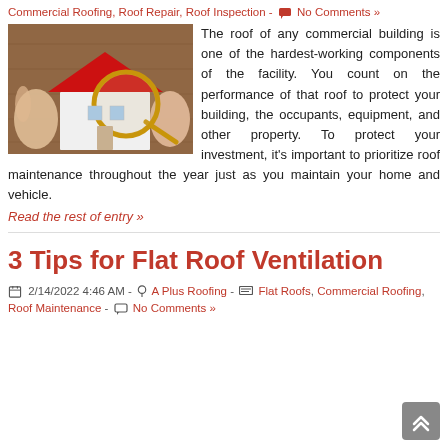Commercial Roofing, Roof Repair, Roof Inspection - 💬 No Comments »
[Figure (photo): Hands holding a magnifying glass over a small model house with a red roof on a wooden table]
The roof of any commercial building is one of the hardest-working components of the facility. You count on the performance of that roof to protect your building, the occupants, equipment, and other property. To protect your investment, it's important to prioritize roof maintenance throughout the year just as you maintain your home and vehicle.
Read the rest of entry »
3 Tips for Flat Roof Ventilation
2/14/2022 4:46 AM - A Plus Roofing - Flat Roofs, Commercial Roofing, Roof Maintenance - No Comments »